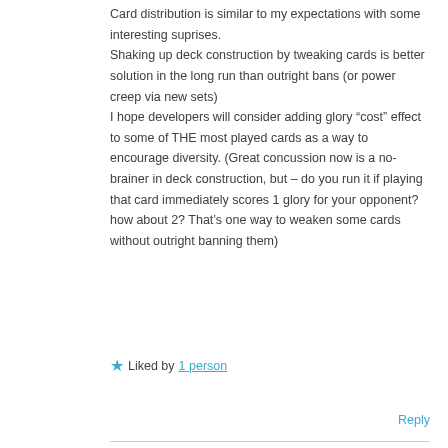Card distribution is similar to my expectations with some interesting suprises.
Shaking up deck construction by tweaking cards is better solution in the long run than outright bans (or power creep via new sets)
I hope developers will consider adding glory “cost” effect to some of THE most played cards as a way to encourage diversity. (Great concussion now is a no-brainer in deck construction, but – do you run it if playing that card immediately scores 1 glory for your opponent? how about 2? That’s one way to weaken some cards without outright banning them)
Liked by 1 person
Reply